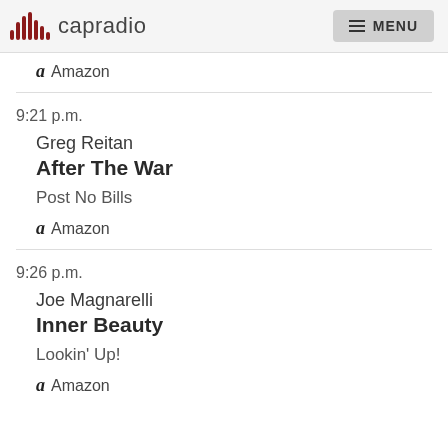capradio MENU
Amazon
9:21 p.m.
Greg Reitan
After The War
Post No Bills
Amazon
9:26 p.m.
Joe Magnarelli
Inner Beauty
Lookin' Up!
Amazon